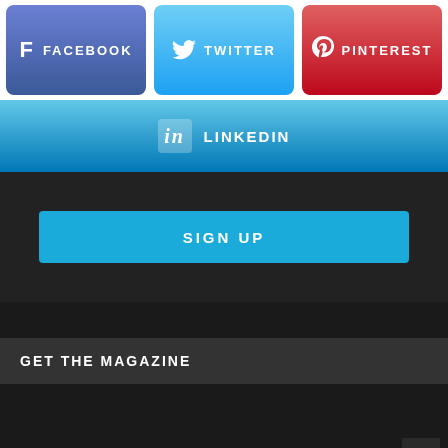[Figure (infographic): Social media share buttons row: Facebook (blue-purple), Twitter (light blue), Pinterest (red)]
[Figure (infographic): LinkedIn share button, wide blue gradient button with LinkedIn 'in' icon]
[Figure (infographic): Dark panel with a bright blue SIGN UP button]
GET THE MAGAZINE
[Figure (infographic): Back to top arrow button at bottom right corner]